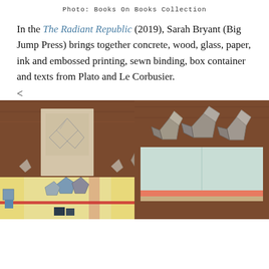Photo: Books On Books Collection
In the The Radiant Republic (2019), Sarah Bryant (Big Jump Press) brings together concrete, wood, glass, paper, ink and embossed printing, sewn binding, box container and texts from Plato and Le Corbusier.
<
[Figure (photo): Left photo: An open artist's book showing geometric polyhedra illustrations on a cream/tan paper background, with small three-dimensional paper polyhedra scattered across yellow and light-colored pages, and a red horizontal line element. Wooden surface visible in background.]
[Figure (photo): Right photo: Three-dimensional paper/concrete polyhedra shapes sitting on top of an open folded pale mint/light blue paper or book, with a coral/salmon colored horizontal strip near the bottom, and a tan/cream lower section. Wooden surface visible in background.]